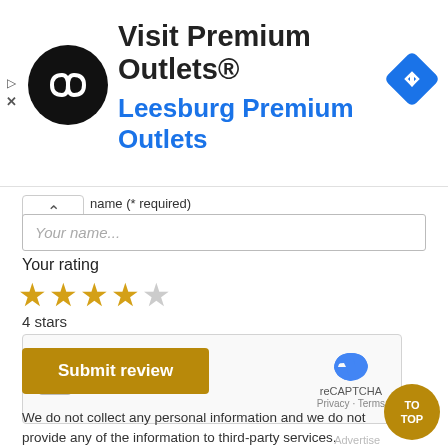[Figure (logo): Advertisement banner for Visit Premium Outlets - Leesburg Premium Outlets with circular black logo with infinity-like symbol and blue navigation diamond icon]
name (* required)
Your name...
Your rating
4 stars
[Figure (screenshot): reCAPTCHA widget with checkbox, I'm not a robot text, and reCAPTCHA logo with Privacy and Terms links]
We do not collect any personal information and we do not provide any of the information to third-party services.
Submit review
TO TOP
Advertise